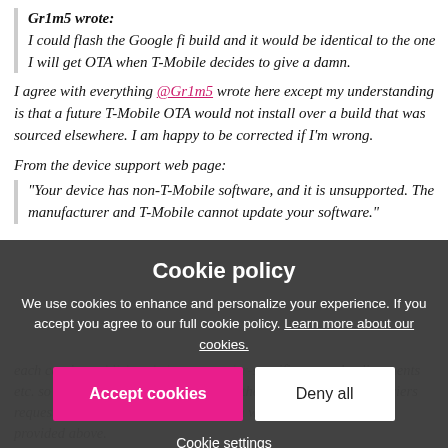Gr1m5 wrote: I could flash the Google fi build and it would be identical to the one I will get OTA when T-Mobile decides to give a damn.
I agree with everything @Gr1m5 wrote here except my understanding is that a future T-Mobile OTA would not install over a build that was sourced elsewhere. I am happy to be corrected if I'm wrong.
From the device support web page:
“Your device has non-T-Mobile software, and it is unsupported. The manufacturer and T-Mobile cannot update your software.”
Cookie policy
We use cookies to enhance and personalize your experience. If you accept you agree to our full cookie policy. Learn more about our cookies.
each carrier pu... network adjustments etc. so the base part of the updates are the same. Its what the carriers request to be added on after that, which would be #7 in the link I provided above.